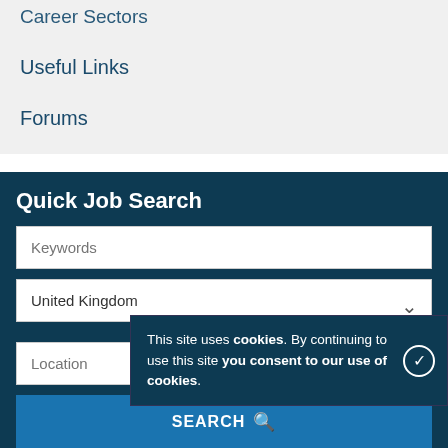Career Sectors
Useful Links
Forums
Quick Job Search
Keywords
United Kingdom
Location
SEARCH
Advanced Job Search
This site uses cookies. By continuing to use this site you consent to our use of cookies.